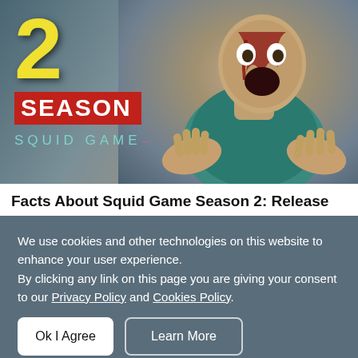[Figure (screenshot): Squid Game Season 2 promotional thumbnail showing large yellow '2', red banner with 'SEASON' text, teal 'SQUID GAME' logo, and a bloody horror character on the right side with gray background]
Facts About Squid Game Season 2: Release Date, Official Trailer, Cast and Plot Theories 🎬
We use cookies and other technologies on this website to enhance your user experience.
By clicking any link on this page you are giving your consent to our Privacy Policy and Cookies Policy.
Ok I Agree   Learn More